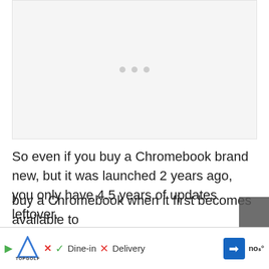[Figure (other): Image placeholder area with three grey dots indicating loading or carousel]
So even if you buy a Chromebook brand new, but it was launched 2 years ago, you only have 4.5 years of updates leftover.
If you're worried about getting updates, you should buy a Chromebook when it first becomes available to th... no
[Figure (other): Advertisement bar at bottom: TopGolf ad with Dine-in checkmark, Delivery X, navigation arrow, and temperature icon]